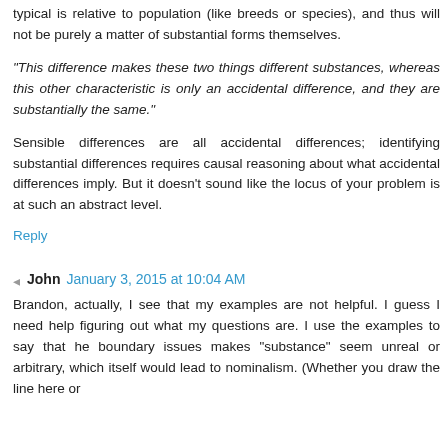typical is relative to population (like breeds or species), and thus will not be purely a matter of substantial forms themselves.
"This difference makes these two things different substances, whereas this other characteristic is only an accidental difference, and they are substantially the same."
Sensible differences are all accidental differences; identifying substantial differences requires causal reasoning about what accidental differences imply. But it doesn't sound like the locus of your problem is at such an abstract level.
Reply
John  January 3, 2015 at 10:04 AM
Brandon, actually, I see that my examples are not helpful. I guess I need help figuring out what my questions are. I use the examples to say that he boundary issues makes "substance" seem unreal or arbitrary, which itself would lead to nominalism. (Whether you draw the line here or